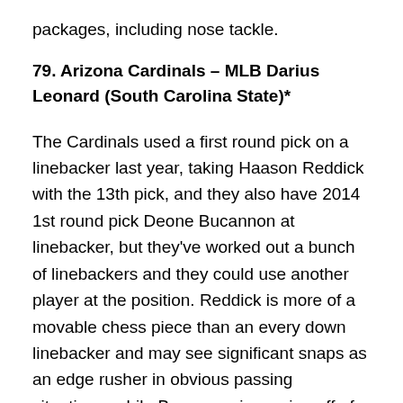packages, including nose tackle.
79. Arizona Cardinals – MLB Darius Leonard (South Carolina State)*
The Cardinals used a first round pick on a linebacker last year, taking Haason Reddick with the 13th pick, and they also have 2014 1st round pick Deone Bucannon at linebacker, but they've worked out a bunch of linebackers and they could use another player at the position. Reddick is more of a movable chess piece than an every down linebacker and may see significant snaps as an edge rusher in obvious passing situations, while Bucannon is coming off of an injury plagued season and could be cost prohibitive for the Cardinals to re-sign as a free agent next off-season if he bounces back in 2018. They might not take a linebacker in the first couple rounds, but they could